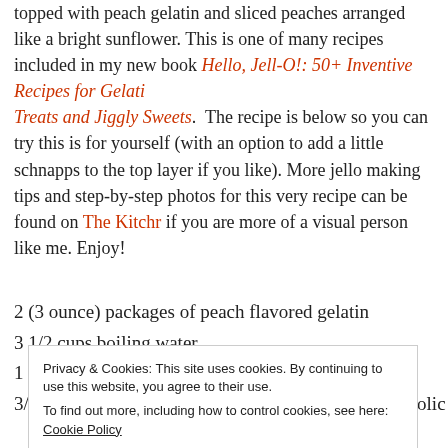topped with peach gelatin and sliced peaches arranged like a bright sunflower. This is one of many recipes included in my new book Hello, Jell-O!: 50+ Inventive Recipes for Gelatin Treats and Jiggly Sweets. The recipe is below so you can try this is for yourself (with an option to add a little schnapps to the top layer if you like). More jello making tips and step-by-step photos for this very recipe can be found on The Kitchn if you are more of a visual person like me. Enjoy!
2 (3 ounce) packages of peach flavored gelatin
3 1/2 cups boiling water
1 1/4 cups cold water
3/4 cup cold peach schnapps or cold water non-alcoholic
Privacy & Cookies: This site uses cookies. By continuing to use this website, you agree to their use. To find out more, including how to control cookies, see here: Cookie Policy. Close and accept.